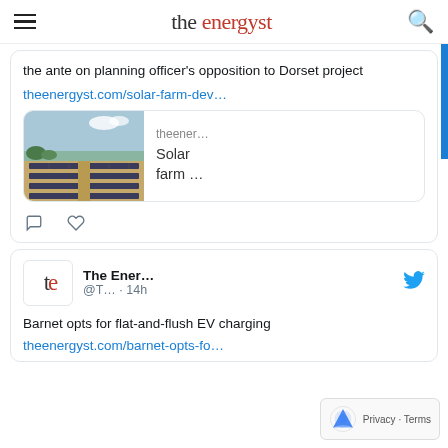the energyst
the ante on planning officer's opposition to Dorset project
theenergyst.com/solar-farm-dev…
[Figure (screenshot): Link preview card showing solar farm aerial photo with text 'theener… Solar farm ...']
The Ener... @T... · 14h
Barnet opts for flat-and-flush EV charging
theenergyst.com/barnet-opts-fo…